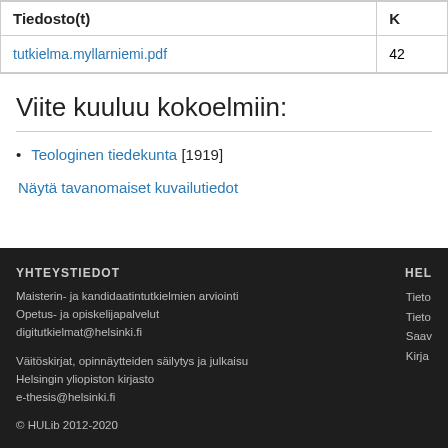| Tiedosto(t) | K |
| --- | --- |
| tutkielma.myllarniemi.pdf | 42 |
Viite kuuluu kokoelmiin:
Teologinen tiedekunta [1919]
Näytä tavanomaiset kuvailutiedot
YHTEYSTIEDOT
Maisterin- ja kandidaatintutkielmien arviointi
Opetus- ja opiskelijapalvelut
digitutkielmat@helsinki.fi

Väitöskirjat, opinnäytteiden säilytys ja julkaisu
Helsingin yliopiston kirjasto
e-thesis@helsinki.fi

© HULib 2012-2020

HEL
Tieto
Tieto
Saav
Kirja